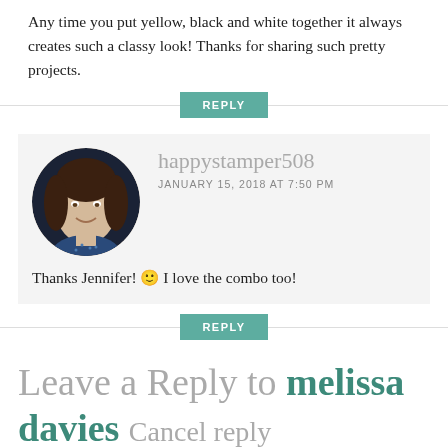Any time you put yellow, black and white together it always creates such a classy look! Thanks for sharing such pretty projects.
REPLY
happystamper508
JANUARY 15, 2018 AT 7:50 PM
Thanks Jennifer! 🙂 I love the combo too!
REPLY
Leave a Reply to melissa davies Cancel reply